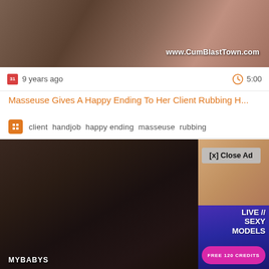[Figure (screenshot): Video thumbnail showing adult content, with watermark www.CumBlastTown.com]
9 years ago
5:00
Masseuse Gives A Happy Ending To Her Client Rubbing H...
client  handjob  happy ending  masseuse  rubbing
[Figure (screenshot): Adult video player with overlaid advertisement showing adult content and 'LIVE SEXY MODELS' text, 'FREE 120 CREDITS' button, and '[x] Close Ad' button. Bottom left shows 'MYBABYS' label.]